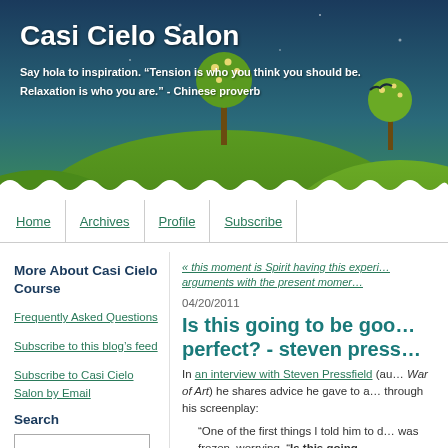[Figure (illustration): Blog header banner with dark blue to teal gradient sky, green cartoon hills, decorative trees with flowers, and a small bird silhouette]
Casi Cielo Salon
Say hola to inspiration. “Tension is who you think you should be. Relaxation is who you are.” - Chinese proverb
Home | Archives | Profile | Subscribe
More About Casi Cielo Course
Frequently Asked Questions
Subscribe to this blog’s feed
Subscribe to Casi Cielo Salon by Email
Search
« this moment is Spirit having this experi... arguments with the present momer...
04/20/2011
Is this going to be goo... perfect? - steven press...
In an interview with Steven Pressfield (au... War of Art) he shares advice he gave to a... through his screenplay:
"One of the first things I told him to d... was frozen, worrying, "Is this going...